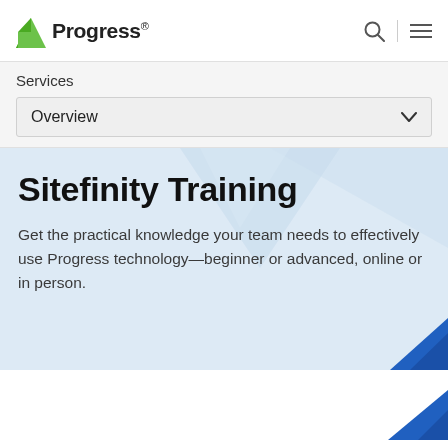Progress
Services
Overview
Sitefinity Training
Get the practical knowledge your team needs to effectively use Progress technology—beginner or advanced, online or in person.